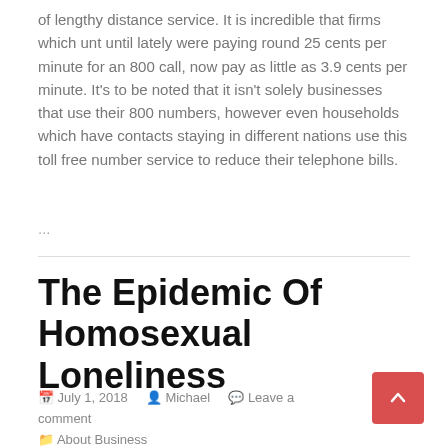of lengthy distance service. It is incredible that firms which unt until lately were paying round 25 cents per minute for an 800 call, now pay as little as 3.9 cents per minute. It's to be noted that it isn't solely businesses that use their 800 numbers, however even households which have contacts staying in different nations use this toll free number service to reduce their telephone bills.
...
The Epidemic Of Homosexual Loneliness
July 1, 2018   Michael   Leave a comment   About Business